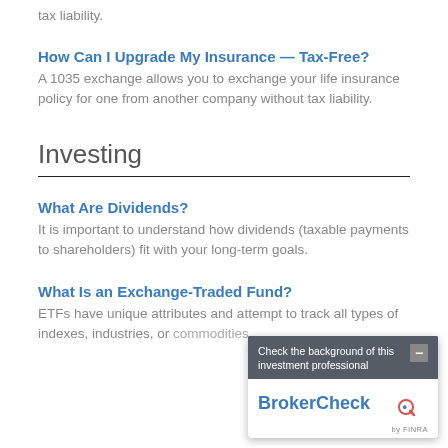tax liability.
How Can I Upgrade My Insurance — Tax-Free?
A 1035 exchange allows you to exchange your life insurance policy for one from another company without tax liability.
Investing
What Are Dividends?
It is important to understand how dividends (taxable payments to shareholders) fit with your long-term goals.
What Is an Exchange-Traded Fu...
ETFs have unique attributes and attempt to track all types of indexes, industries, or commodities.
[Figure (other): BrokerCheck by FINRA overlay widget with text 'Check the background of this investment professional' and BrokerCheck logo]